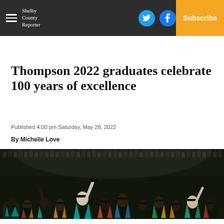Shelby County Reporter — Log In | Subscribe
Thompson 2022 graduates celebrate 100 years of excellence
Published 4:00 pm Saturday, May 28, 2022
By Michelle Love
[Figure (photo): Crowd of graduation students in caps and gowns celebrating at a commencement ceremony, many tossing caps or raising hands]